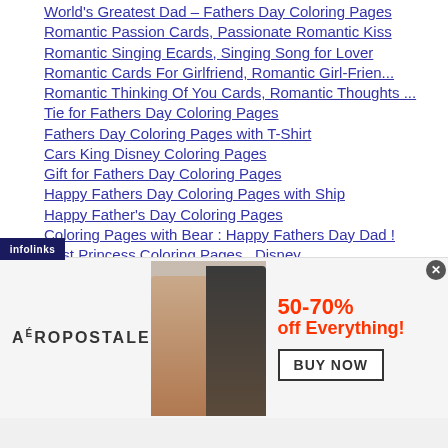World's Greatest Dad – Fathers Day Coloring Pages
Romantic Passion Cards, Passionate Romantic Kiss
Romantic Singing Ecards, Singing Song for Lover
Romantic Cards For Girlfriend, Romantic Girl-Frien...
Romantic Thinking Of You Cards, Romantic Thoughts ...
Tie for Fathers Day Coloring Pages
Fathers Day Coloring Pages with T-Shirt
Cars King Disney Coloring Pages
Gift for Fathers Day Coloring Pages
Happy Fathers Day Coloring Pages with Ship
Happy Father's Day Coloring Pages
Coloring Pages with Bear : Happy Fathers Day Dad !
Best Princess Coloring Pages – Disney
Christmas Cakes Desktop Wallpapers
Christmas Couple Desktop Wallpapers, Christmas Cou...
Christmas Nature Wallpapers, Natural Beauty Xmas P...
[Figure (screenshot): Aeropostale advertisement banner showing 50-70% off Everything with BUY NOW button and two models]